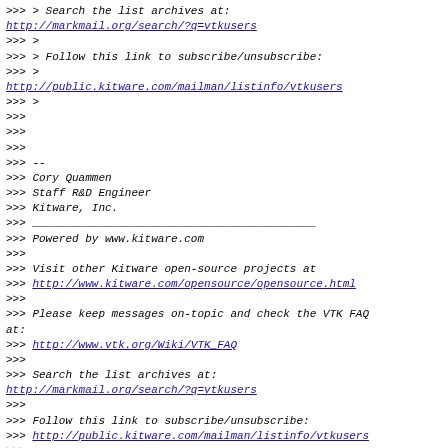>>> > Search the list archives at:
http://markmail.org/search/?q=vtkusers
>>> >
>>> > Follow this link to subscribe/unsubscribe:
>>> >
http://public.kitware.com/mailman/listinfo/vtkusers
>>> >
>>>
>>>
>>>
>>> --
>>> Cory Quammen
>>> Staff R&D Engineer
>>> Kitware, Inc.
>>> ___________________________________________
>>> Powered by www.kitware.com
>>>
>>> Visit other Kitware open-source projects at
>>> http://www.kitware.com/opensource/opensource.html
>>>
>>> Please keep messages on-topic and check the VTK FAQ at:
>>> http://www.vtk.org/Wiki/VTK_FAQ
>>>
>>> Search the list archives at:
http://markmail.org/search/?q=vtkusers
>>>
>>> Follow this link to subscribe/unsubscribe:
>>> http://public.kitware.com/mailman/listinfo/vtkusers
>>>